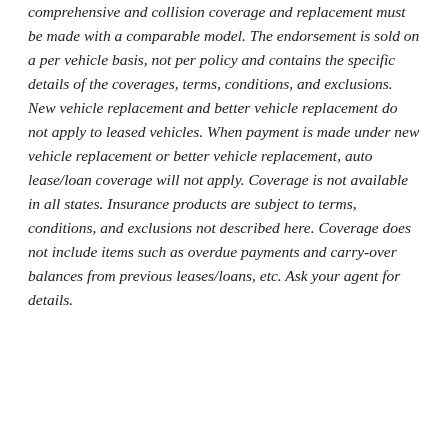comprehensive and collision coverage and replacement must be made with a comparable model. The endorsement is sold on a per vehicle basis, not per policy and contains the specific details of the coverages, terms, conditions, and exclusions.  New vehicle replacement and better vehicle replacement do not apply to leased vehicles. When payment is made under new vehicle replacement or better vehicle replacement, auto lease/loan coverage will not apply. Coverage is not available in all states. Insurance products are subject to terms, conditions, and exclusions not described here. Coverage does not include items such as overdue payments and carry-over balances from previous leases/loans, etc. Ask your agent for details.